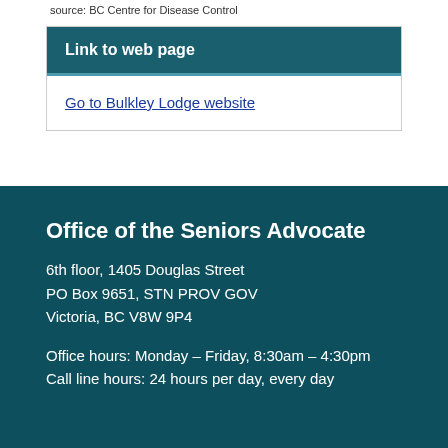source: BC Centre for Disease Control
| Link to web page |
| --- |
| Go to Bulkley Lodge website |
Office of the Seniors Advocate
6th floor, 1405 Douglas Street
PO Box 9651, STN PROV GOV
Victoria, BC V8W 9P4
Office hours: Monday – Friday, 8:30am – 4:30pm
Call line hours: 24 hours per day, every day